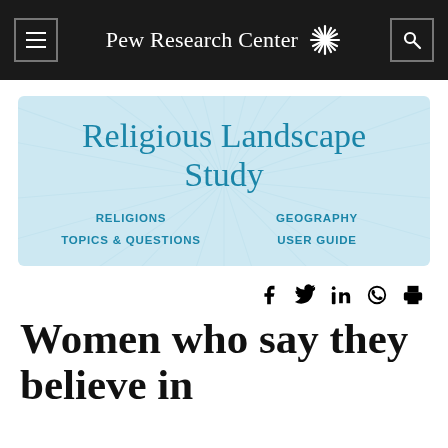Pew Research Center
[Figure (screenshot): Religious Landscape Study banner with light blue sunburst background, showing navigation links: RELIGIONS, GEOGRAPHY, TOPICS & QUESTIONS, USER GUIDE]
[Figure (infographic): Social share icons: Facebook, Twitter, LinkedIn, WhatsApp, Print]
Women who say they believe in